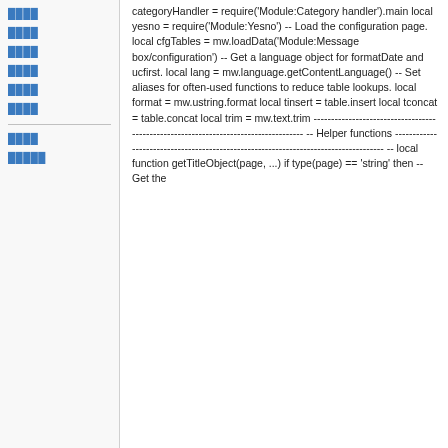████
████
████
████
████
████
████
█████
categoryHandler = require('Module:Category handler').main local yesno = require('Module:Yesno') -- Load the configuration page. local cfgTables = mw.loadData('Module:Message box/configuration') -- Get a language object for formatDate and ucfirst. local lang = mw.language.getContentLanguage() -- Set aliases for often-used functions to reduce table lookups. local format = mw.ustring.format local tinsert = table.insert local tconcat = table.concat local trim = mw.text.trim -------------------------------------------------------------------------------- -- Helper functions -------------------------------------------------------------------------------- -- local function getTitleObject(page, ...) if type(page) == 'string' then -- Get the